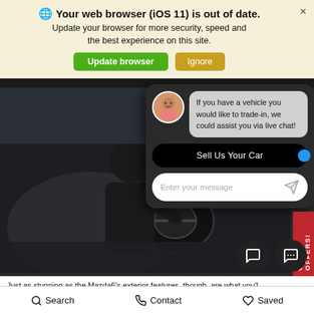Your web browser (iOS 11) is out of date.
Update your browser for more security, speed and the best experience on this site.
[Figure (screenshot): Screenshot of a car dealership website showing a Mazda vehicle interior photo overlaid with a live chat widget. The chat widget shows an agent avatar with a message 'If you have a vehicle you would like to trade-in, we could assist you via live chat!', a 'Sell Us Your Car' button, and a message input field. A red 'CX-5 OFFERS!' side badge is visible, along with chat icon buttons.]
Just as stunning as the Mazda6's exterior features, though, are what you'll get on the inside. With the latest in safety and connectivity te... behind the Mazda6 keeps your finger on the pulse in... to you peace of mind. Through the Mazda Connect™ infotainment system
Search   Contact   Saved